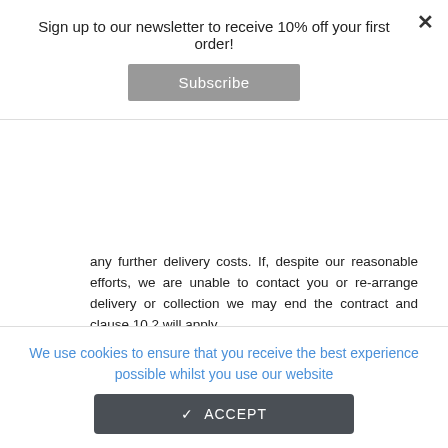Sign up to our newsletter to receive 10% off your first order!
Subscribe
any further delivery costs. If, despite our reasonable efforts, we are unable to contact you or re-arrange delivery or collection we may end the contract and clause 10.2 will apply.
7. Your legal rights if we deliver products late. You have legal rights if we deliver any products late. If we miss the delivery deadline for any products then you may treat the contract as at an end straight away if any of the following apply:
We use cookies to ensure that you receive the best experience possible whilst you use our website
✓ ACCEPT